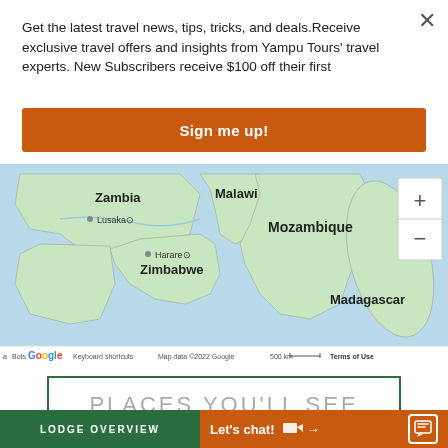Get the latest travel news, tips, tricks, and deals.Receive exclusive travel offers and insights from Yampu Tours' travel experts. New Subscribers receive $100 off their first
Sign me up!
[Figure (map): Google map showing southern Africa including Zambia, Malawi, Mozambique, Zimbabwe, Madagascar. Lusaka and Harare marked. Zoom controls visible. Map data ©2022 Google.]
PLACES YOU'LL SEE
LODGE OVERVIEW
Let's chat!